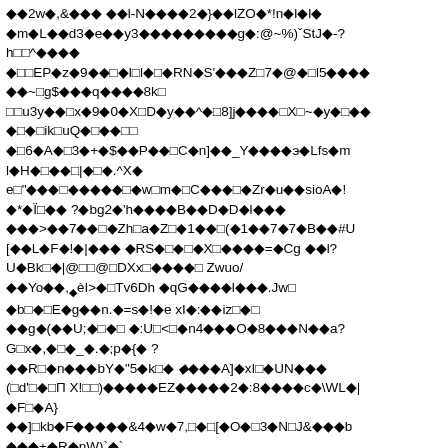◆◆2w◆,&◆◆◆ ◆◆l-N◆◆◆◆2◆}◆◆lZO◆*!n◆l◆l◆ ◆m◆L◆◆d3◆e◆◆y3◆◆◆◆◆◆◆◆◆g◆:@~%)ˇStJ◆-? h◆◆^◆◆◆◆ ◆◆◆EP◆z◆9◆◆◆◆l◆l◆◆RN◆S'◆◆◆Z◆7◆@◆◆l5◆◆◆◆ ◆◆~◆g$◆◆◆q◆◆◆◆8k◆ ◆◆u3y◆◆◆x◆9◆0◆X◆D◆y◆◆^◆◆8]j◆◆◆◆◆X◆~◆y◆◆◆◆ ◆◆◆◆ik◆uQ◆◆◆◆◆◆ ◆◆6◆A◆◆3◆+◆$◆◆P◆◆◆C◆n]◆◆_Y◆◆◆◆э◆Lfs◆m ◆◆H◆◆◆◆|◆◆◆.^X◆ e◆"◆◆◆◆◆◆◆◆◆◆◆w◆m◆◆C◆◆◆◆◆Zr◆u◆◆sioA◆! ◆*◆Ï◆◆ ?◆bg2◆'h◆◆◆◆B◆◆D◆D◆l◆◆◆ ◆◆◆>◆◆7◆◆◆◆Zh◆a◆Z◆◆1◆◆◆(◆1◆◆7◆7◆B◆◆#U [◆◆L◆F◆!◆|◆◆◆ ◆RS◆◆◆◆X◆◆◆◆=◆Cg ◆◆l? U◆Bk◆◆|@◆◆@◆DXx◆◆◆◆◆◆ Zwuo/ ◆◆Yo◆◆,◆èI>◆◆Tv6Dh ◆qG◆◆◆◆l◆◆◆.Jw◆ ◆b◆◆E◆g◆◆n.◆=s◆!◆e xI◆:◆◆iz◆◆◆ ◆◆g◆(◆◆U;◆◆◆◆ ◆:U◆<◆◆n4◆◆◆O◆8◆◆◆N◆◆a? G◆x◆,◆◆◆_◆.◆;p◆{◆ ? ◆◆R◆◆n◆◆◆bY◆"5◆k◆◆ ◆◆◆◆A]◆xI◆◆UN◆◆◆ (◆d'◆◆◆Π X!◆◆)◆◆◆◆◆EZ◆◆◆◆◆2◆:8◆◆◆◆c◆\WL◆| ◆F◆◆A} ◆◆]◆kb◆F◆◆◆◆◆&4◆w◆7,◆◆[◆O◆◆3◆N◆J&◆◆◆b ◆◆◆+◆R◆nW)`◆` ◆◆&◆4◆◆◆L◆#◆CFu4´◆◆◆◆◆ve◆<1◆◆◆z◆◆◆◆i◆